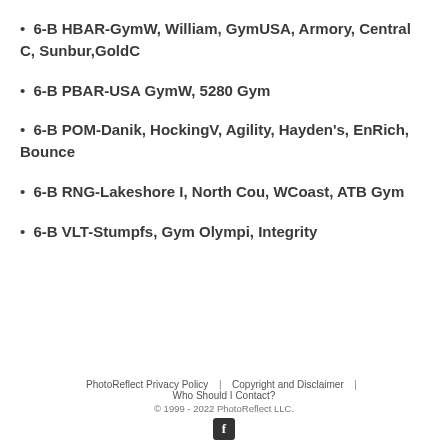6-B HBAR-GymW, William, GymUSA, Armory, Central C, Sunbur,GoldC
6-B PBAR-USA GymW, 5280 Gym
6-B POM-Danik, HockingV, Agility, Hayden's, EnRich, Bounce
6-B RNG-Lakeshore I, North Cou, WCoast, ATB Gym
6-B VLT-Stumpfs, Gym Olympi, Integrity
PhotoReflect Privacy Policy | Copyright and Disclaimer | Who Should I Contact?
© 1999 - 2022 PhotoReflect LLC.